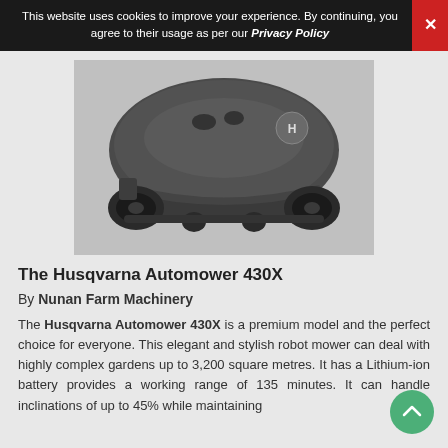This website uses cookies to improve your experience. By continuing, you agree to their usage as per our Privacy Policy
[Figure (photo): Husqvarna Automower 430X robot lawn mower, front view, dark grey color on grey background]
The Husqvarna Automower 430X
By Nunan Farm Machinery
The Husqvarna Automower 430X is a premium model and the perfect choice for everyone. This elegant and stylish robot mower can deal with highly complex gardens up to 3,200 square metres. It has a Lithium-ion battery provides a working range of 135 minutes. It can handle inclinations of up to 45% while maintaining